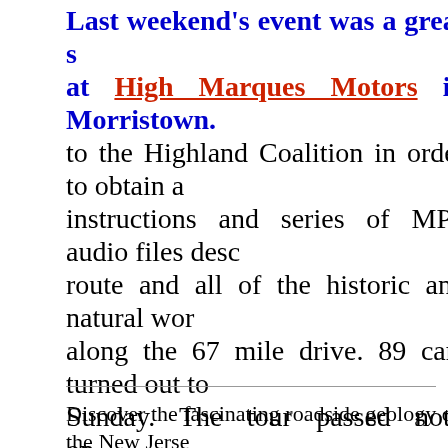Last weekend's event was a great s... at High Marques Motors in Morristown. ... to the Highland Coalition in order to obtain a... instructions and series of MP3 audio files desc... route and all of the historic and natural wor... along the 67 mile drive. 89 cars turned out to... Sunday. The tour passed not on... Forest and Gingerbread Castle but incl... the Franklin Mineral Museum which opene... event ended at the Irish Cottage Inn in Frank... version of the Route Instructions can be found... Club of North Jersey Website. Here is a lin... MP3 Files - Link
Discover the fascinating roadside geology of the New Jerse...
The Tour/Trek in support of the New Jersey Highlands Co... Marques Motors in Morristown and end at the Irish Cottag...